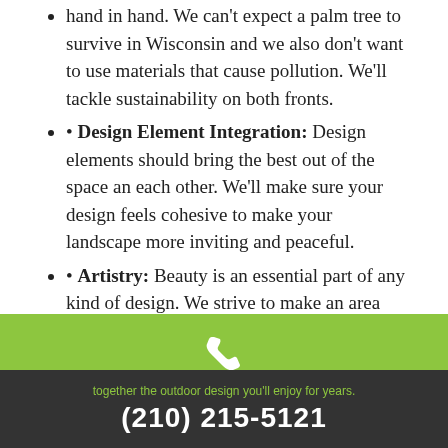hand in hand. We can't expect a palm tree to survive in Wisconsin and we also don't want to use materials that cause pollution. We'll tackle sustainability on both fronts.
• Design Element Integration: Design elements should bring the best out of the space an each other. We'll make sure your design feels cohesive to make your landscape more inviting and peaceful.
• Artistry: Beauty is an essential part of any kind of design. We strive to make an area that is as gorgeous as it is functional.
Get in Touch for Your Landscaping Consultation
Are you ready to get started on your landscaping project? Give us a
together the outdoor design you'll enjoy for years.
(210) 215-5121